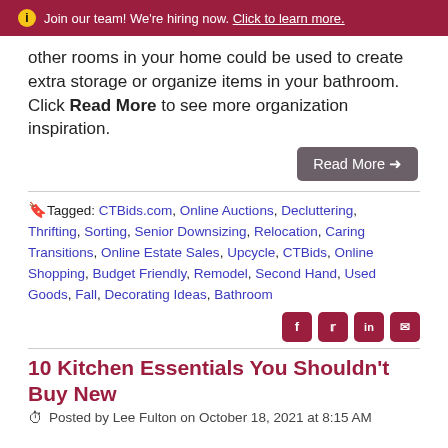Join our team! We're hiring now. Click to learn more.
other rooms in your home could be used to create extra storage or organize items in your bathroom. Click Read More to see more organization inspiration.
Read More →
Tagged: CTBids.com, Online Auctions, Decluttering, Thrifting, Sorting, Senior Downsizing, Relocation, Caring Transitions, Online Estate Sales, Upcycle, CTBids, Online Shopping, Budget Friendly, Remodel, Second Hand, Used Goods, Fall, Decorating Ideas, Bathroom
10 Kitchen Essentials You Shouldn't Buy New
Posted by Lee Fulton on October 18, 2021 at 8:15 AM